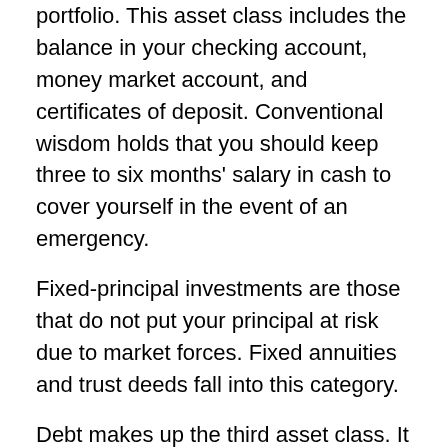portfolio. This asset class includes the balance in your checking account, money market account, and certificates of deposit. Conventional wisdom holds that you should keep three to six months' salary in cash to cover yourself in the event of an emergency.
Fixed-principal investments are those that do not put your principal at risk due to market forces. Fixed annuities and trust deeds fall into this category.
Debt makes up the third asset class. It includes municipal, corporate, government, and government agency bonds. It also covers other debt-secured investments such as collateralized mortgage obligations.
Equity represents an ownership interest in a business entity; this class covers any investment you might make in stocks. It also covers any interest you may have in a closely held corporation or partnership.
Tangibles include your holdings in real estate, art